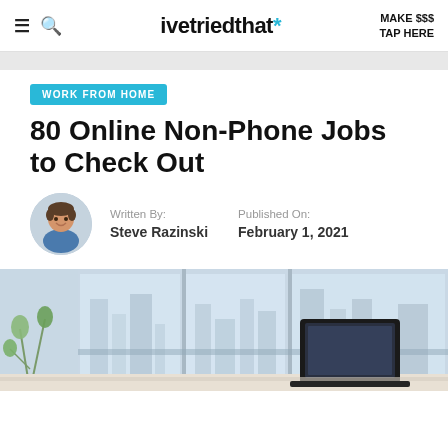ivetriedthat* | MAKE $$$ TAP HERE
WORK FROM HOME
80 Online Non-Phone Jobs to Check Out
Written By: Steve Razinski | Published On: February 1, 2021
[Figure (photo): Hero image of a modern home office workspace with a laptop on a white desk, large windows with a city view in the background]